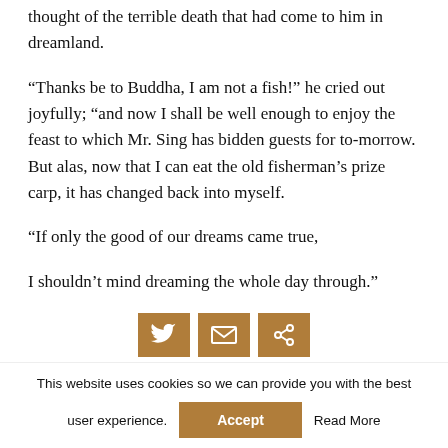thought of the terrible death that had come to him in dreamland.
“Thanks be to Buddha, I am not a fish!” he cried out joyfully; “and now I shall be well enough to enjoy the feast to which Mr. Sing has bidden guests for to-morrow. But alas, now that I can eat the old fisherman’s prize carp, it has changed back into myself.
“If only the good of our dreams came true,
I shouldn’t mind dreaming the whole day through.”
[Figure (illustration): Three social sharing icon buttons (Twitter bird, envelope/email, share) in orange/tan square backgrounds]
This website uses cookies so we can provide you with the best user experience.
Accept   Read More